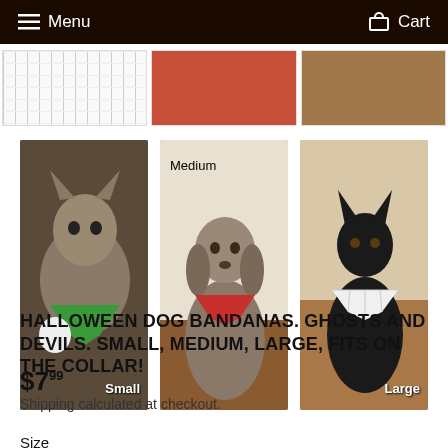Menu  Cart
[Figure (photo): Top row of product photos: grid/ruler image, two product photos of dogs with bandanas]
[Figure (photo): Three product photos: cat labeled Small, Weimaraner dog labeled Medium, black German Shepherd labeled Large, each wearing a bandana]
HALLOWEEN DOG BANDANAS. GHOSTS AND DEVILS. SMALL, MEDIUM, LARGE, FITS ON THE COLLAR!
$7.99
Shipping calculated at checkout.
Size